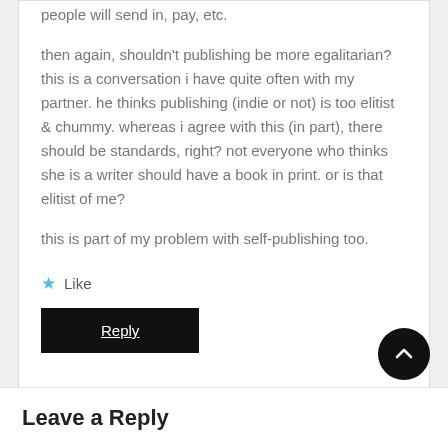people will send in, pay, etc.
then again, shouldn't publishing be more egalitarian? this is a conversation i have quite often with my partner. he thinks publishing (indie or not) is too elitist & chummy. whereas i agree with this (in part), there should be standards, right? not everyone who thinks she is a writer should have a book in print. or is that elitist of me?
this is part of my problem with self-publishing too.
Like
Reply
Leave a Reply